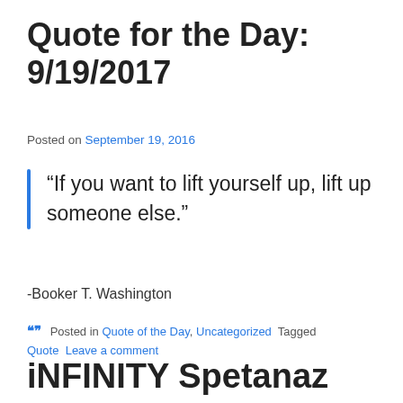Quote for the Day: 9/19/2017
Posted on September 19, 2016
“If you want to lift yourself up, lift up someone else.”
-Booker T. Washington
Posted in Quote of the Day, Uncategorized  Tagged Quote  Leave a comment
iNFINITY Spetanaz